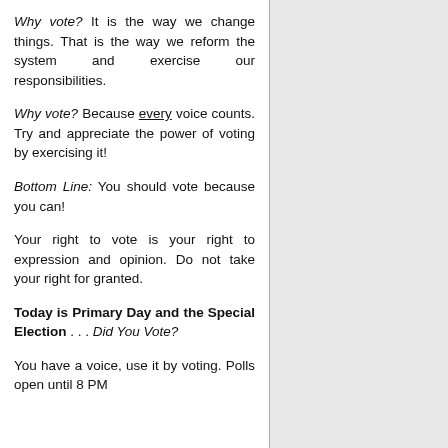Why vote? It is the way we change things. That is the way we reform the system and exercise our responsibilities.
Why vote? Because every voice counts. Try and appreciate the power of voting by exercising it!
Bottom Line: You should vote because you can!
Your right to vote is your right to expression and opinion. Do not take your right for granted.
Today is Primary Day and the Special Election . . . Did You Vote?
You have a voice, use it by voting. Polls open until 8 PM